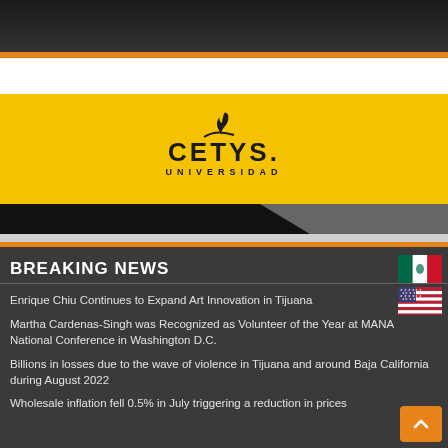[Figure (photo): Dark photo at the top of page, partially visible]
[Figure (logo): CETYS Universidad logo on yellow background]
BREAKING NEWS
Enrique Chiu Continues to Expand Art Innovation in Tijuana
Martha Cardenas-Singh was Recognized as Volunteer of the Year at MANA National Conference in Washington D.C.
Billions in losses due to the wave of violence in Tijuana and around Baja California during August 2022
Wholesale inflation fell 0.5% in July triggering a reduction in prices